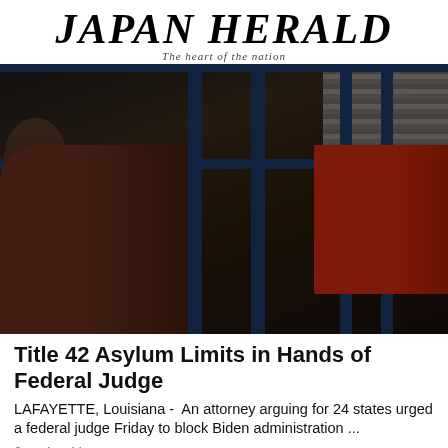JAPAN HERALD
The heart of the nation
[Figure (photo): Women and children inside a crowded facility with blue metal bunk beds in low light. A woman holds a child on her left side in the foreground; another child leans on a bunk rail on the right; a woman sits in the middle background.]
Title 42 Asylum Limits in Hands of Federal Judge
LAFAYETTE, Louisiana -  An attorney arguing for 24 states urged a federal judge Friday to block Biden administration ...
Japanherald